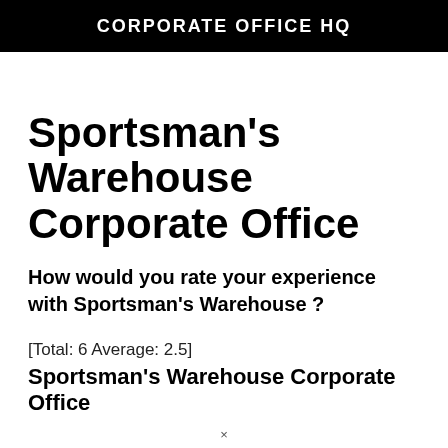CORPORATE OFFICE HQ
Sportsman's Warehouse Corporate Office
How would you rate your experience with Sportsman's Warehouse ?
[Total: 6 Average: 2.5]
Sportsman's Warehouse Corporate Office